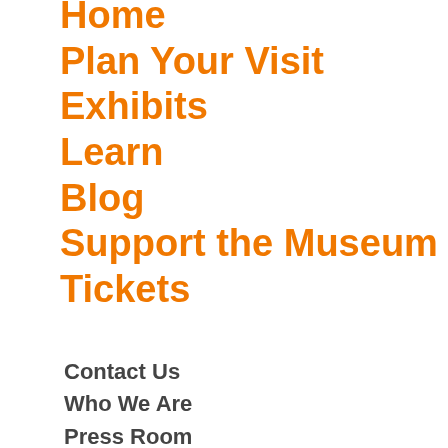Home
Plan Your Visit
Exhibits
Learn
Blog
Support the Museum
Tickets
Contact Us
Who We Are
Press Room